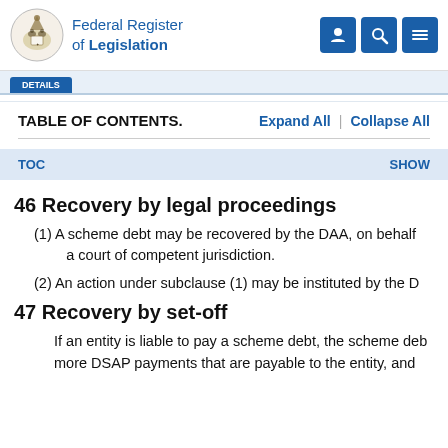Federal Register of Legislation
TABLE OF CONTENTS.
TOC    SHOW
46  Recovery by legal proceedings
(1)  A scheme debt may be recovered by the DAA, on behalf a court of competent jurisdiction.
(2)  An action under subclause (1) may be instituted by the D
47  Recovery by set-off
If an entity is liable to pay a scheme debt, the scheme deb more DSAP payments that are payable to the entity, and